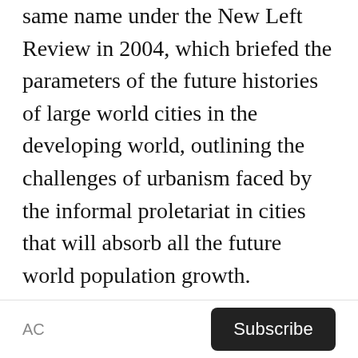same name under the New Left Review in 2004, which briefed the parameters of the future histories of large world cities in the developing world, outlining the challenges of urbanism faced by the informal proletariat in cities that will absorb all the future world population growth. Understanding Davis's theoretical approach, even if merely constituting background information, is useful when reading Planet of Slums as he is severely critical of the various attempts to improve the millions of slum-dwellers in the Third World. As he outlines one possible solution after another, each is deemed to be fundamentally flawed at best or a regressive failure at worst (Jones, 2008).
AC  Subscribe